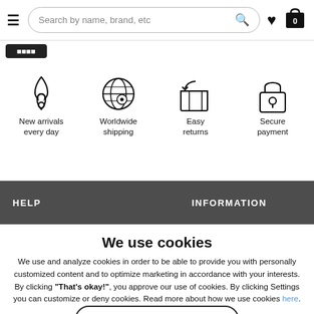Search by name, brand, etc
[Figure (infographic): Four feature icons: New arrivals every day (flame), Worldwide shipping (globe with pin), Easy returns (box with arrow), Secure payment (padlock)]
New arrivals every day
Worldwide shipping
Easy returns
Secure payment
HELP    INFORMATION
We use cookies
We use and analyze cookies in order to be able to provide you with personally customized content and to optimize marketing in accordance with your interests. By clicking "That's okay!", you approve our use of cookies. By clicking Settings you can customize or deny cookies. Read more about how we use cookies here.